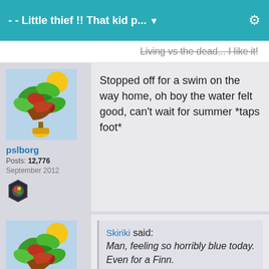- - Little thief !! That kid p... ▼
Living vs the dead... I like it!
[Figure (illustration): Colorful stylized tree/plant avatar image with green leaves, red and brown shapes, yellow and blue elements]
pslborg
Posts: 12,776
September 2012
[Figure (illustration): Badge icon - dark hexagonal badge with small colorful image inside]
Stopped off for a swim on the way home, oh boy the water felt good, can't wait for summer *taps foot*
[Figure (illustration): Same colorful stylized tree/plant avatar image]
Skiriki said: Man, feeling so horribly blue today. Even for a Finn.